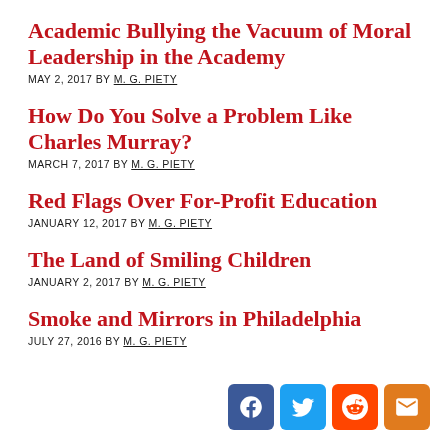Academic Bullying the Vacuum of Moral Leadership in the Academy
MAY 2, 2017 BY M. G. PIETY
How Do You Solve a Problem Like Charles Murray?
MARCH 7, 2017 BY M. G. PIETY
Red Flags Over For-Profit Education
JANUARY 12, 2017 BY M. G. PIETY
The Land of Smiling Children
JANUARY 2, 2017 BY M. G. PIETY
Smoke and Mirrors in Philadelphia
JULY 27, 2016 BY M. G. PIETY